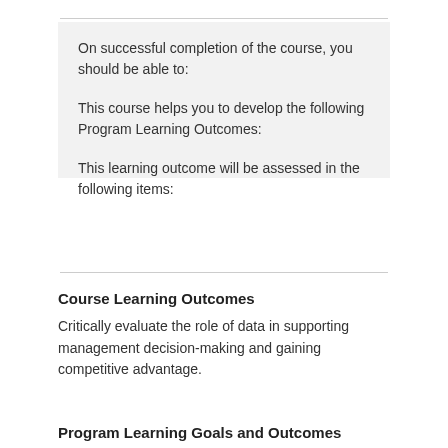On successful completion of the course, you should be able to:
This course helps you to develop the following Program Learning Outcomes:
This learning outcome will be assessed in the following items:
Course Learning Outcomes
Critically evaluate the role of data in supporting management decision-making and gaining competitive advantage.
Program Learning Goals and Outcomes